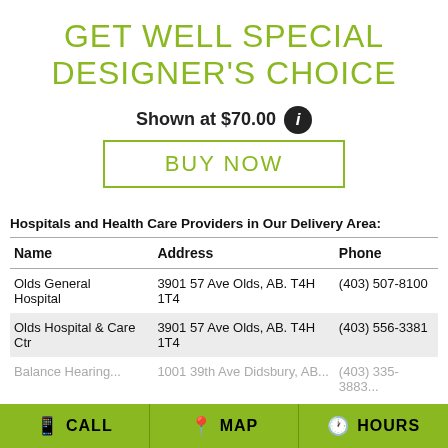GET WELL SPECIAL DESIGNER'S CHOICE
Shown at $70.00
BUY NOW
Hospitals and Health Care Providers in Our Delivery Area:
| Name | Address | Phone |
| --- | --- | --- |
| Olds General Hospital | 3901 57 Ave Olds, AB. T4H 1T4 | (403) 507-8100 |
| Olds Hospital & Care Ctr | 3901 57 Ave Olds, AB. T4H 1T4 | (403) 556-3381 |
| Balance Hearing... | 1001 39th Ave Didsbury, AB... | (403) 335-3883 |
CALL   MAP   HOURS